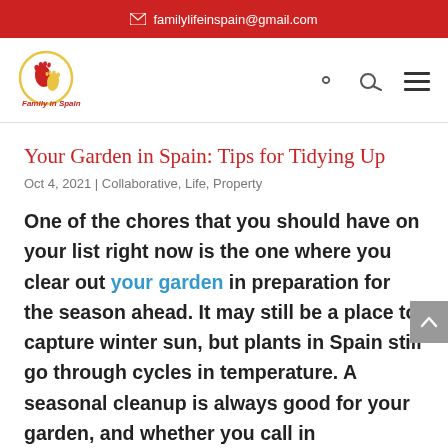✉ familylifeinspain@gmail.com
[Figure (logo): Family in Spain logo — circular logo with footprints in red and yellow, text 'Family in Spain' below]
Your Garden in Spain: Tips for Tidying Up
Oct 4, 2021 | Collaborative, Life, Property
One of the chores that you should have on your list right now is the one where you clear out your garden in preparation for the season ahead. It may still be a place to capture winter sun, but plants in Spain still go through cycles in temperature. A seasonal cleanup is always good for your garden, and whether you call in